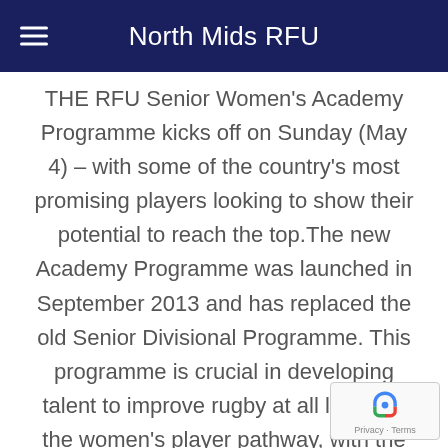North Mids RFU
THE RFU Senior Women's Academy Programme kicks off on Sunday (May 4) – with some of the country's most promising players looking to show their potential to reach the top.The new Academy Programme was launched in September 2013 and has replaced the old Senior Divisional Programme. This programme is crucial in developing talent to improve rugby at all levels of the women's player pathway, with the objective of producing future England Internationals at XVs and